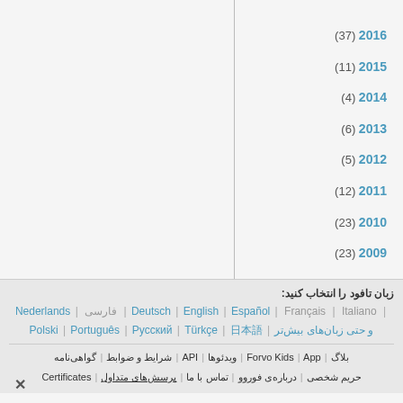2016 (37)
2015 (11)
2014 (4)
2013 (6)
2012 (5)
2011 (12)
2010 (23)
2009 (23)
زبان تافود را انتخاب کنید:
| Deutsch | English | Español | Français | Italiano | ??? | Nederlands | Polski | Português | Русский | Türkçe | ??? و حتی زبان‌های بیش‌تر
بلاگ | Forvo Kids | App | ویدئوها | API | شرایط و ضوابط | گواهی‌نامه | حریم شخصی | درباره‌ی فوروو | تماس با ما | پرسش‌های متداول | Certificates